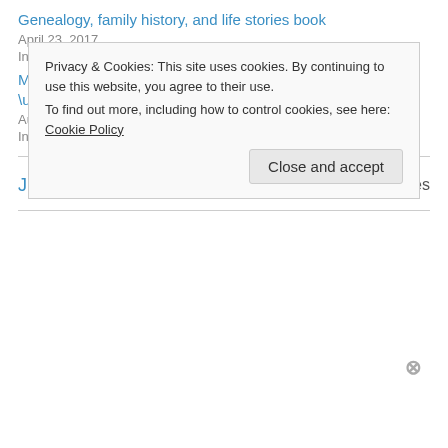Genealogy, family history, and life stories book
April 23, 2017
In "capturing memories"
More on making family stories and genealogy come alive: “Yokohama Yankee”
August 18, 2013
In "adoption"
June 13, 2013
10 Replies
Privacy & Cookies: This site uses cookies. By continuing to use this website, you agree to their use. To find out more, including how to control cookies, see here: Cookie Policy
Close and accept